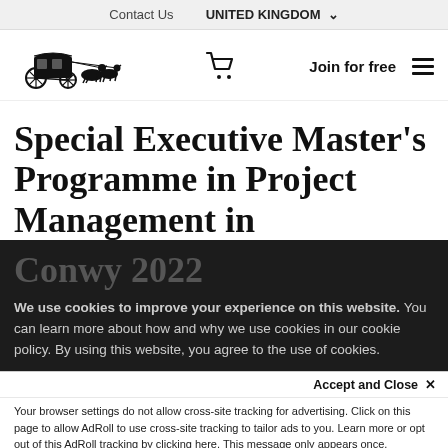Contact Us   UNITED KINGDOM
[Figure (logo): Horse-drawn carriage logo (dark illustration)]
Special Executive Master's Programme in Project Management in Conwy 2022
We use cookies to improve your experience on this website. You can learn more about how and why we use cookies in our cookie policy. By using this website, you agree to the use of cookies.
Accept and Close ×
Your browser settings do not allow cross-site tracking for advertising. Click on this page to allow AdRoll to use cross-site tracking to tailor ads to you. Learn more or opt out of this AdRoll tracking by clicking here. This message only appears once.